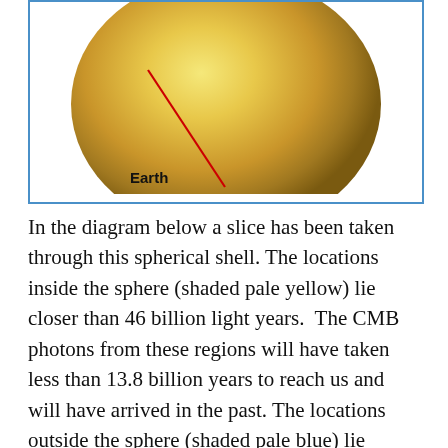[Figure (illustration): Partial view of a large gold/yellow metallic sphere cropped at the top of a blue-bordered box. A red diagonal line points from inside the sphere downward toward a bold label 'Earth' at the bottom-left of the box.]
In the diagram below a slice has been taken through this spherical shell. The locations inside the sphere (shaded pale yellow) lie closer than 46 billion light years.  The CMB photons from these regions will have taken less than 13.8 billion years to reach us and will have arrived in the past. The locations outside the sphere (shaded pale blue) lie further away than 46 billion light years. The photons from these regions will take longer than 13.8 billion years to reach us and will arrive in the future.